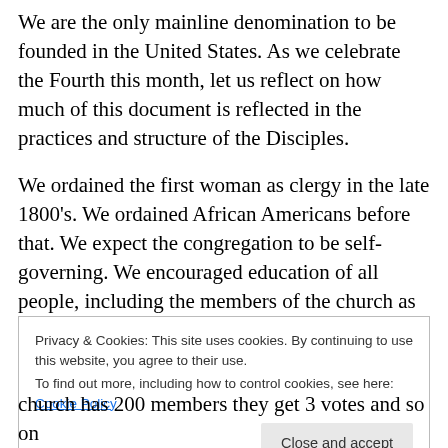We are the only mainline denomination to be founded in the United States. As we celebrate the Fourth this month, let us reflect on how much of this document is reflected in the practices and structure of the Disciples.
We ordained the first woman as clergy in the late 1800's. We ordained African Americans before that. We expect the congregation to be self-governing. We encouraged education of all people, including the members of the church as all of us are to be able to study and read Scripture, not just the clergy. Our clergy are ordained
Privacy & Cookies: This site uses cookies. By continuing to use this website, you agree to their use.
To find out more, including how to control cookies, see here: Cookie Policy
church has 200 members they get 3 votes and so on